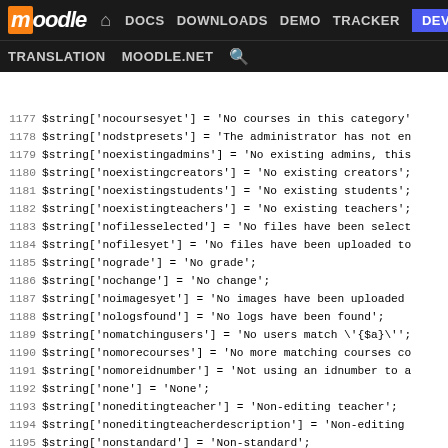[Figure (screenshot): Moodle developer documentation website navigation bar with logo, nav links (DOCS, DOWNLOADS, DEMO, TRACKER, DEV active), and secondary nav (TRANSLATION, MOODLE.NET, search icon)]
Code listing of PHP language strings from Moodle, lines 1177-1202, showing $string array assignments for various locale keys.